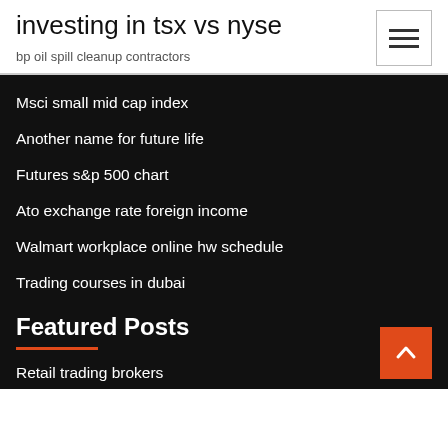investing in tsx vs nyse
bp oil spill cleanup contractors
Msci small mid cap index
Another name for future life
Futures s&p 500 chart
Ato exchange rate foreign income
Walmart workplace online hw schedule
Trading courses in dubai
Featured Posts
Retail trading brokers
Bursa malaysia stock exchange trading hours